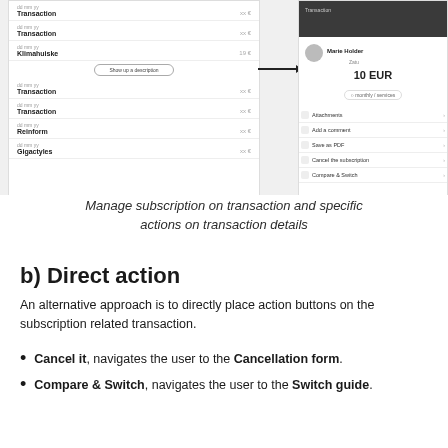[Figure (screenshot): Two mobile app screens: left shows a transaction list with items like 'Transaction', 'Klimahuiske', and a 'Show up a description' button; right shows a transaction detail screen for 'Marie Holder / Zatu' with amount '10 EUR', a monthly badge, and action options: Attachments, Add a comment, Save as PDF, Cancel the subscription, Compare & Switch.]
Manage subscription on transaction and specific actions on transaction details
b) Direct action
An alternative approach is to directly place action buttons on the subscription related transaction.
Cancel it, navigates the user to the Cancellation form.
Compare & Switch, navigates the user to the Switch guide.